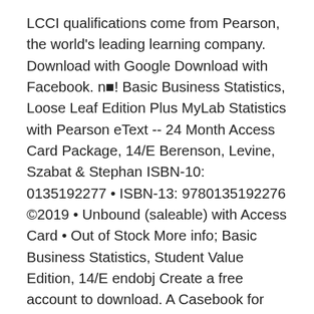LCCI qualifications come from Pearson, the world's leading learning company. Download with Google Download with Facebook. n■! Basic Business Statistics, Loose Leaf Edition Plus MyLab Statistics with Pearson eText -- 24 Month Access Card Package, 14/E Berenson, Levine, Szabat & Stephan ISBN-10: 0135192277 • ISBN-13: 9780135192276 ©2019 • Unbound (saleable) with Access Card • Out of Stock More info; Basic Business Statistics, Student Value Edition, 14/E endobj Create a free account to download. A Casebook for Business Statistics: Laboratories for Decision Making, and she has authored more than 30 articles—primarily in the areas of statistics education and women in science. 0134748492 / 9780134748498 MyLab Statistics for Business Stats with Pearson eText -- Standalone Access Card -- for Business Statistics; Enter your mobile number or email address